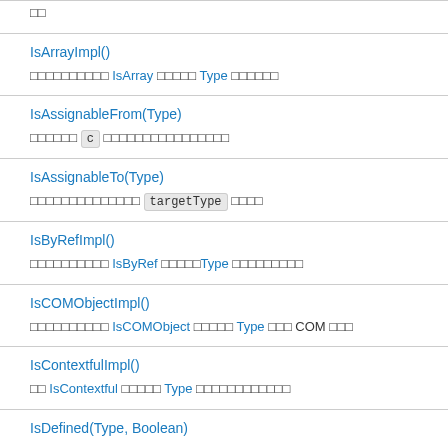IsArrayImpl()
実装メソッド IsArray を持つ Type かどうかを返します
IsAssignableFrom(Type)
指定した c が代入可能かどうかを返します
IsAssignableTo(Type)
代入可能かどうか targetType を示します
IsByRefImpl()
実装メソッド IsByRef を持つType かどうかを返します
IsCOMObjectImpl()
実装メソッド IsCOMObject を持つ Type が COM かどうか
IsContextfulImpl()
か IsContextful を持つ Type かどうかを返します
IsDefined(Type, Boolean)